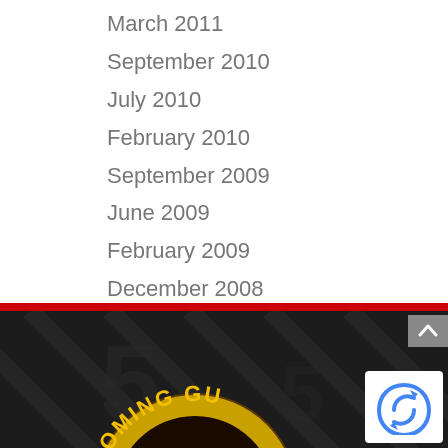March 2011
September 2010
July 2010
February 2010
September 2009
June 2009
February 2009
December 2008
[Figure (logo): Wyoming Gun logo — circular badge with yellow text 'WYOMING GU...' on dark background with diagonal pattern]